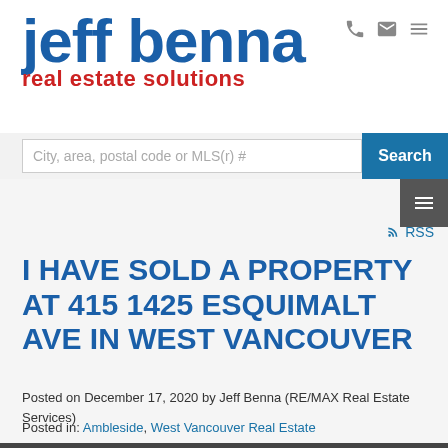[Figure (logo): Jeff Benna Real Estate Solutions logo — 'jeff benna' in large blue bold text, 'real estate solutions' in smaller red text below]
[Figure (other): Top-right navigation icons: phone, email, hamburger menu in gray]
City, area, postal code or MLS(r) #
Search
[Figure (other): Sidebar toggle button (dark gray with lines icon) and RSS link]
I HAVE SOLD A PROPERTY AT 415 1425 ESQUIMALT AVE IN WEST VANCOUVER
Posted on December 17, 2020 by Jeff Benna (RE/MAX Real Estate Services)
Posted in: Ambleside, West Vancouver Real Estate